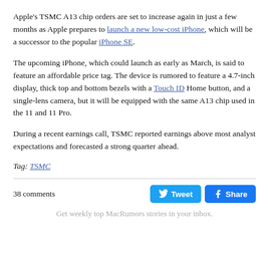Apple's TSMC A13 chip orders are set to increase again in just a few months as Apple prepares to launch a new low-cost iPhone, which will be a successor to the popular iPhone SE.
The upcoming iPhone, which could launch as early as March, is said to feature an affordable price tag. The device is rumored to feature a 4.7-inch display, thick top and bottom bezels with a Touch ID Home button, and a single-lens camera, but it will be equipped with the same A13 chip used in the 11 and 11 Pro.
During a recent earnings call, TSMC reported earnings above most analyst expectations and forecasted a strong quarter ahead.
Tag: TSMC
38 comments
Get weekly top MacRumors stories in your inbox.